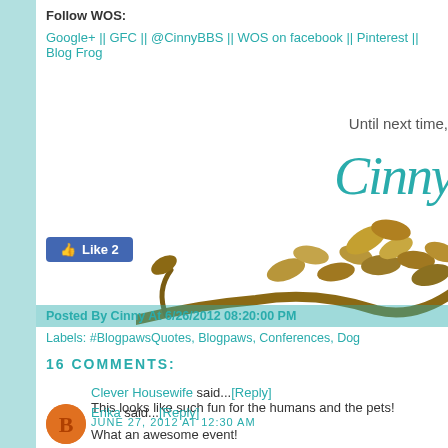Follow WOS:
Google+ || GFC || @CinnyBBS || WOS on facebook || Pinterest || Blog Frog
Until next time,
Cinny (signature)
[Figure (illustration): Decorative brown branch with tan and brown leaves illustration]
[Figure (other): Facebook Like button showing Like 2]
Posted By Cinny At 6/26/2012 08:20:00 PM
Labels: #BlogpawsQuotes, Blogpaws, Conferences, Dog
16 COMMENTS:
Clever Housewife said...[Reply]
This looks like such fun for the humans and the pets!
JUNE 27, 2012 AT 12:30 AM
Erika said...[Reply]
What an awesome event!